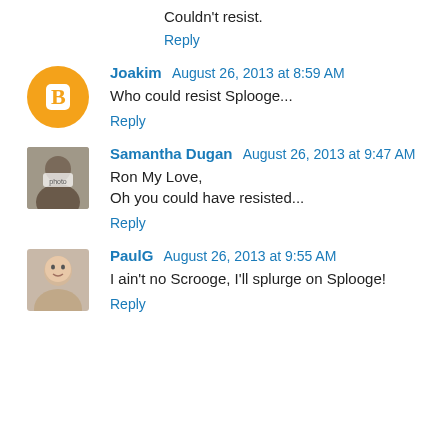Couldn't resist.
Reply
Joakim  August 26, 2013 at 8:59 AM
Who could resist Splooge...
Reply
Samantha Dugan  August 26, 2013 at 9:47 AM
Ron My Love,
Oh you could have resisted...
Reply
PaulG  August 26, 2013 at 9:55 AM
I ain't no Scrooge, I'll splurge on Splooge!
Reply